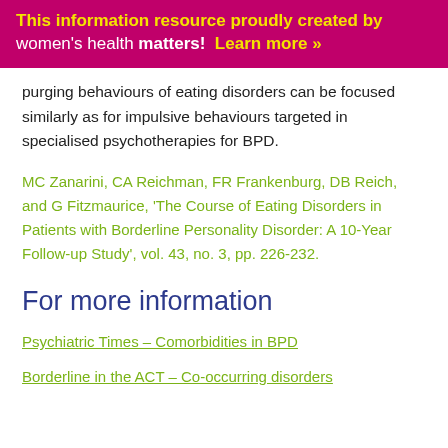This information resource proudly created by women's health matters! Learn more »
purging behaviours of eating disorders can be focused similarly as for impulsive behaviours targeted in specialised psychotherapies for BPD.
MC Zanarini, CA Reichman, FR Frankenburg, DB Reich, and G Fitzmaurice, 'The Course of Eating Disorders in Patients with Borderline Personality Disorder: A 10-Year Follow-up Study', vol. 43, no. 3, pp. 226-232.
For more information
Psychiatric Times – Comorbidities in BPD
Borderline in the ACT – Co-occurring disorders